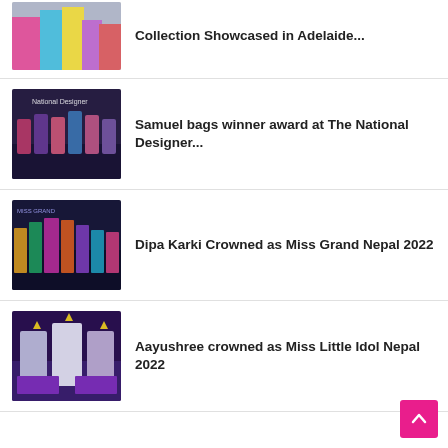Collection Showcased in Adelaide...
Samuel bags winner award at The National Designer...
Dipa Karki Crowned as Miss Grand Nepal 2022
Aayushree crowned as Miss Little Idol Nepal 2022